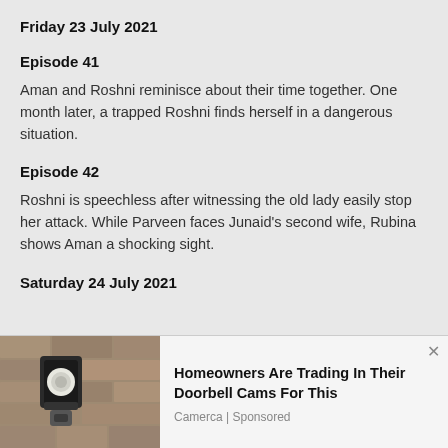Friday 23 July 2021
Episode 41
Aman and Roshni reminisce about their time together. One month later, a trapped Roshni finds herself in a dangerous situation.
Episode 42
Roshni is speechless after witnessing the old lady easily stop her attack. While Parveen faces Junaid's second wife, Rubina shows Aman a shocking sight.
Saturday 24 July 2021
[Figure (photo): Advertisement photo of a security camera light fixture mounted on a stone wall]
Homeowners Are Trading In Their Doorbell Cams For This
Camerca | Sponsored